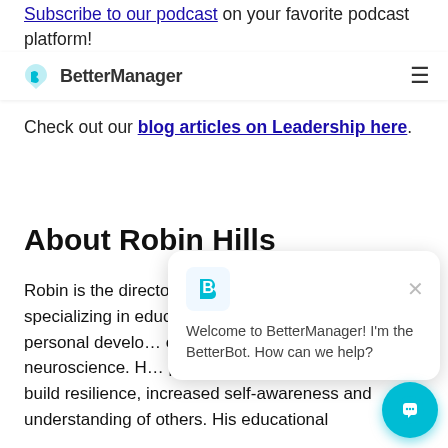Subscribe to our podcast on your favorite podcast platform!
BetterManager [nav bar with logo and hamburger menu]
Check out our blog articles on Leadership here.
About Robin Hills
Robin is the director of Ei4Change, a company specializing in educational training, coaching and personal development focused on emotional intelligence, positive psychology and neuroscience. He has reached people in 175+ countries how to build resilience, increased self-awareness and understanding of others. His educational
[Figure (other): BetterBot chat popup widget with BetterManager B logo icon, close X button, and message: Welcome to BetterManager! I'm the BetterBot. How can we help? with teal circular chat button at bottom right.]